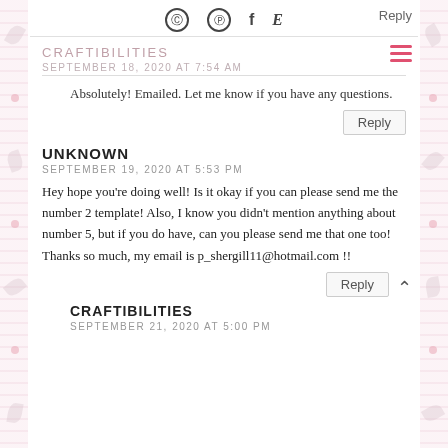Instagram Pinterest Facebook Etsy | Reply
CRAFTIBILITIES
SEPTEMBER 18, 2020 AT 7:54 AM
Absolutely! Emailed. Let me know if you have any questions.
Reply
UNKNOWN
SEPTEMBER 19, 2020 AT 5:53 PM
Hey hope you're doing well! Is it okay if you can please send me the number 2 template! Also, I know you didn't mention anything about number 5, but if you do have, can you please send me that one too! Thanks so much, my email is p_shergill11@hotmail.com !!
Reply
CRAFTIBILITIES
SEPTEMBER 21, 2020 AT 5:00 PM